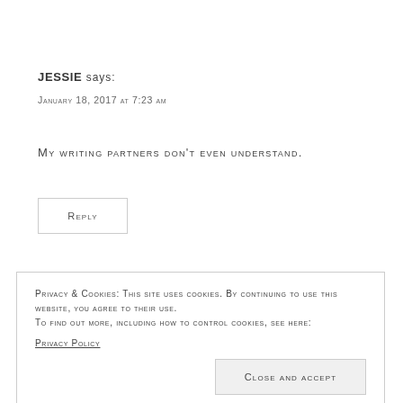JESSIE says:
January 18, 2017 at 7:23 am
My writing partners don't even understand.
Reply
Privacy & Cookies: This site uses cookies. By continuing to use this website, you agree to their use. To find out more, including how to control cookies, see here: Privacy Policy
Close and accept